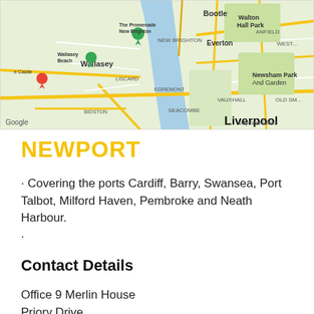[Figure (map): Google Maps image showing Liverpool and surrounding areas including Wallasey, New Brighton, Bootle, Everton, Walton Hall Park, Newsham Park and Garden. Shows roads, waterways, and location pins.]
NEWPORT
· Covering the ports Cardiff, Barry, Swansea, Port Talbot, Milford Haven, Pembroke and Neath Harbour.
·
Contact Details
Office 9 Merlin House
Priory Drive